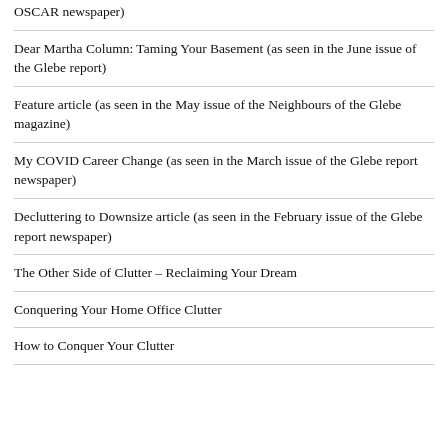OSCAR newspaper)
Dear Martha Column: Taming Your Basement (as seen in the June issue of the Glebe report)
Feature article (as seen in the May issue of the Neighbours of the Glebe magazine)
My COVID Career Change (as seen in the March issue of the Glebe report newspaper)
Decluttering to Downsize article (as seen in the February issue of the Glebe report newspaper)
The Other Side of Clutter – Reclaiming Your Dream
Conquering Your Home Office Clutter
How to Conquer Your Clutter